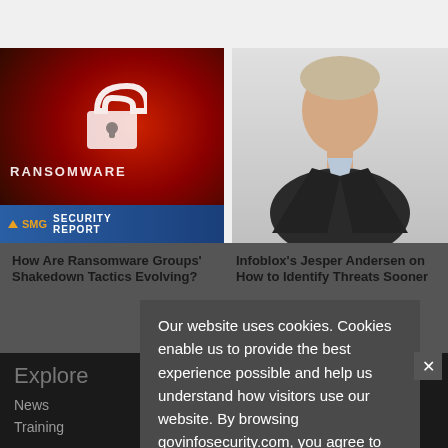[Figure (photo): Ransomware security report image showing a padlock on a red background with SMG Security Report banner at the bottom]
[Figure (photo): Headshot of a man in a dark suit smiling against a light gray background — Infoblox's Jesper Andersen]
How Are Ransomware Groups' Shakedown Tactics Evolving?
Infoblox's Jesper Andersen on How to Identify Threats Sooner
Our website uses cookies. Cookies enable us to provide the best experience possible and help us understand how visitors use our website. By browsing govinfosecurity.com, you agree to our use of cookies.
Explore
About
News
Training
Editorial
Board of Advisers